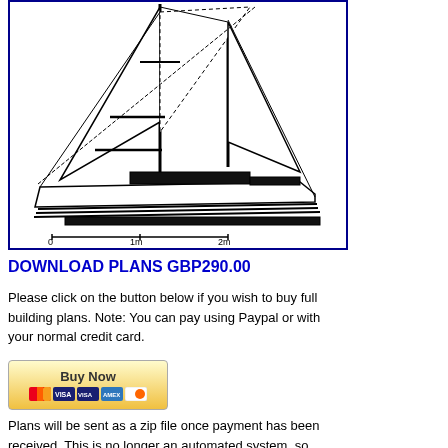[Figure (illustration): Black and white line drawing of a sailboat/catamaran with two masts, sails, and a hull shown in profile view. Scale bar at bottom shows 0, 1m, 2m markers.]
DOWNLOAD PLANS GBP290.00
Please click on the button below if you wish to buy full building plans. Note: You can pay using Paypal or with your normal credit card.
[Figure (other): PayPal Buy Now button with credit card logos (Mastercard, Visa, Visa Debit, Amex, Discover)]
Plans will be sent as a zip file once payment has been received. This is no longer an automated system, so please allow 48 hours for your order to be processed and your plans emailed to